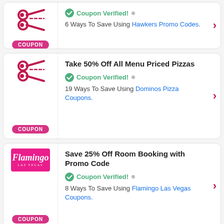[Figure (other): Coupon card 1 (partial): scissors icon with COUPON badge, Hawkers Promo Codes offer. Coupon Verified. 6 Ways To Save Using Hawkers Promo Codes.]
[Figure (other): Coupon card 2: scissors icon with COUPON badge. Title: Take 50% Off All Menu Priced Pizzas. Coupon Verified. 19 Ways To Save Using Dominos Pizza Coupons.]
[Figure (other): Coupon card 3: Flamingo Las Vegas logo with COUPON badge. Title: Save 25% Off Room Booking with Promo Code. Coupon Verified. 8 Ways To Save Using Flamingo Las Vegas Coupons.]